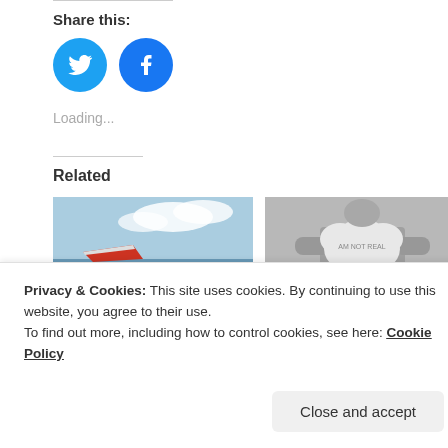Share this:
[Figure (logo): Twitter and Facebook social share icons (blue circles with bird and f logos)]
Loading...
Related
[Figure (photo): Photo of an airplane wing over ocean/sky]
[Figure (photo): Black and white photo of person holding a cloud-shaped sign]
Privacy & Cookies: This site uses cookies. By continuing to use this website, you agree to their use.
To find out more, including how to control cookies, see here: Cookie Policy
Close and accept